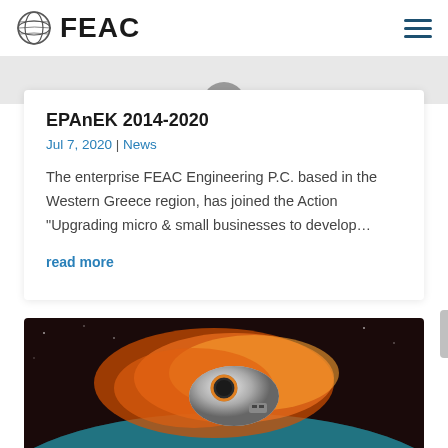FEAC
[Figure (screenshot): Gray strip with partial circular gray shape at top of content area]
EPAnEK 2014-2020
Jul 7, 2020 | News
The enterprise FEAC Engineering P.C. based in the Western Greece region, has joined the Action "Upgrading micro & small businesses to develop...
read more
[Figure (illustration): A metallic robotic or mechanical device engulfed in orange flames against a dark space background with teal/blue Earth visible below]